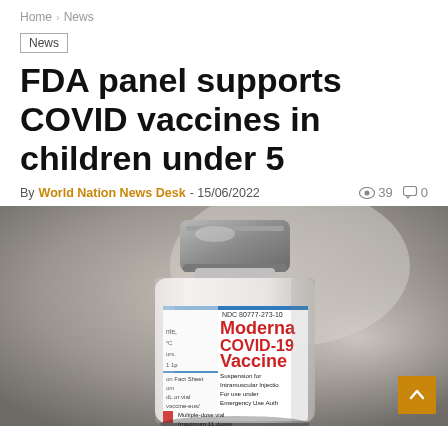Home > News
News
FDA panel supports COVID vaccines in children under 5
By World Nation News Desk - 15/06/2022  👁 39  💬 0
[Figure (photo): Close-up photo of a Moderna COVID-19 Vaccine vial. Label reads: NDC 80777-273-10, Moderna COVID-19 Vaccine, Suspension for Intramuscular Injection, For use under Emergency Use Authorization, Multiple-dose vial (maximum 11 doses)]